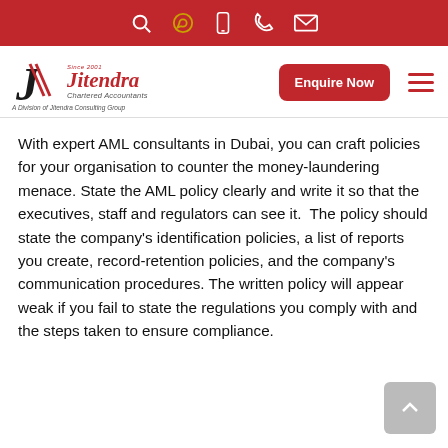Top navigation bar with search, WhatsApp, phone, call, and email icons
[Figure (logo): Jitendra Chartered Accountants logo with J monogram, red text, and tagline 'A Division of Jitendra Consulting Group']
With expert AML consultants in Dubai, you can craft policies for your organisation to counter the money-laundering menace. State the AML policy clearly and write it so that the executives, staff and regulators can see it.  The policy should state the company's identification policies, a list of reports you create, record-retention policies, and the company's communication procedures. The written policy will appear weak if you fail to state the regulations you comply with and the steps taken to ensure compliance.